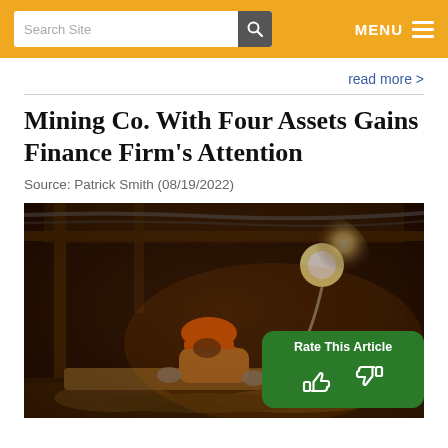Search Site | MENU
read more >
Mining Co. With Four Assets Gains Finance Firm's Attention
Source: Patrick Smith (08/19/2022)
[Figure (photo): A miner wearing an orange hard hat working underground in a mine, with a bright work light illuminating the dark tunnel environment. A 'Rate This Article' overlay with thumbs up and thumbs down icons appears in the bottom right corner.]